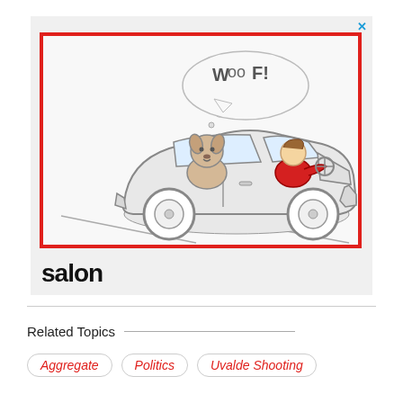[Figure (illustration): Advertisement banner with a cartoon illustration of a dog in the back seat of a car with a speech bubble saying 'WOOF!', driver in red jacket, sketch-style drawing inside a red border frame. Below the illustration is the 'salon' logo in bold black text.]
Related Topics
Aggregate
Politics
Uvalde Shooting